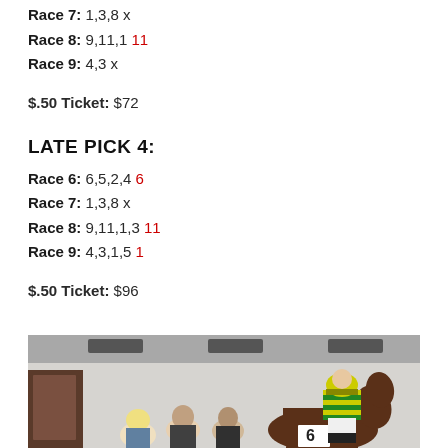Race 7:  1,3,8 x
Race 8:  9,11,1 11
Race 9:  4,3 x
$.50 Ticket:  $72
LATE PICK 4:
Race 6:  6,5,2,4 6
Race 7:  1,3,8 x
Race 8:  9,11,1,3 11
Race 9:  4,3,1,5 1
$.50 Ticket:  $96
[Figure (photo): Horse racing scene indoors: a jockey in green and yellow striped silks sits on a brown horse, with several people standing nearby in what appears to be a stable or parade ring area. The number 6 is visible on the horse's cloth.]